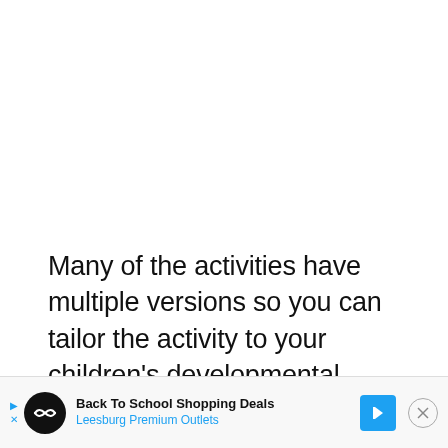Many of the activities have multiple versions so you can tailor the activity to your children's developmental level(s).
Back To School Shopping Deals – Leesburg Premium Outlets [advertisement]